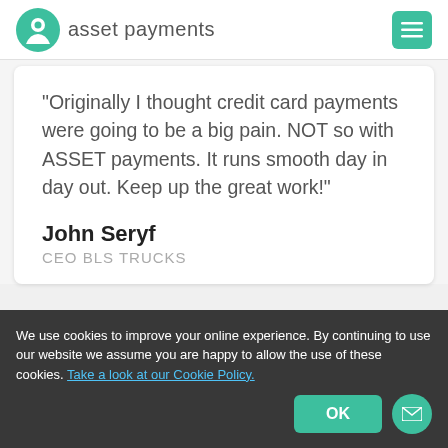asset payments
"Originally I thought credit card payments were going to be a big pain. NOT so with ASSET payments. It runs smooth day in day out. Keep up the great work!"
John Seryf
CEO BLS TRUCKS
We use cookies to improve your online experience. By continuing to use our website we assume you are happy to allow the use of these cookies. Take a look at our Cookie Policy.